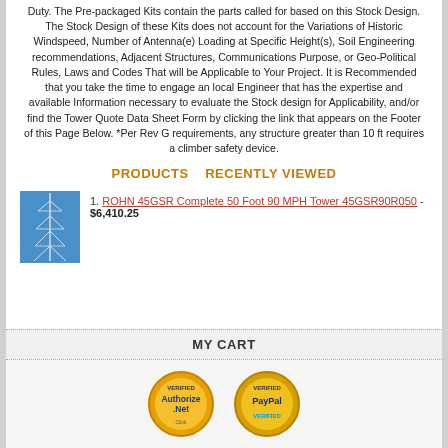Duty. The Pre-packaged Kits contain the parts called for based on this Stock Design. The Stock Design of these Kits does not account for the Variations of Historic Windspeed, Number of Antenna(e) Loading at Specific Height(s), Soil Engineering recommendations, Adjacent Structures, Communications Purpose, or Geo-Political Rules, Laws and Codes That will be Applicable to Your Project. It is Recommended that you take the time to engage an local Engineer that has the expertise and available Information necessary to evaluate the Stock design for Applicability, and/or find the Tower Quote Data Sheet Form by clicking the link that appears on the Footer of this Page Below. *Per Rev G requirements, any structure greater than 10 ft requires a climber safety device.
PRODUCTS   RECENTLY VIEWED
[Figure (photo): Photo of a tall lattice/guyed tower against a blue sky]
1. ROHN 45GSR Complete 50 Foot 90 MPH Tower 45GSR90R050 - $6,410.25
MY CART
[Figure (logo): Authorize.Net Verified logo badge]
[Figure (logo): PayPal Verified logo badge]